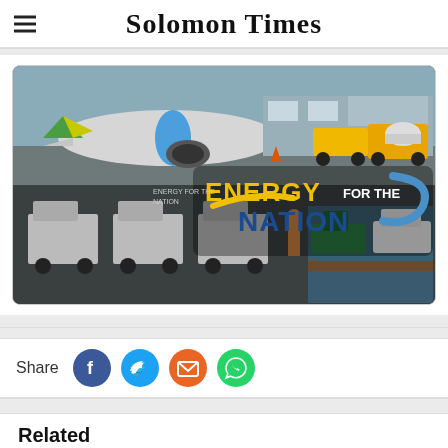Solomon Times
[Figure (photo): Composite image showing airplane on tarmac, fuel tanker trucks, boats at a port, with overlay text 'ENERGY FOR THE NATION']
Share
Related